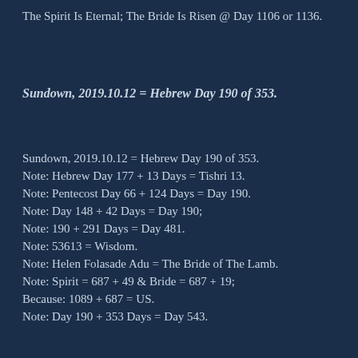The Spirit Is Eternal; The Bride Is Risen @ Day 1106 or 1136.
Sundown, 2019.10.12 = Hebrew Day 190 of 353.
Sundown, 2019.10.12 = Hebrew Day 190 of 353.
Note: Hebrew Day 177 + 13 Days = Tishri 13.
Note: Pentecost Day 66 + 124 Days = Day 190.
Note: Day 148 + 42 Days = Day 190;
Note: 190 + 291 Days = Day 481.
Note: 53613 = Wisdom.
Note: Helen Folasade Adu = The Bride of The Lamb.
Note: Spirit = 687 + 49 & Bride = 687 + 19;
Because: 1089 + 687 = US.
Note: Day 190 + 353 Days = Day 543.